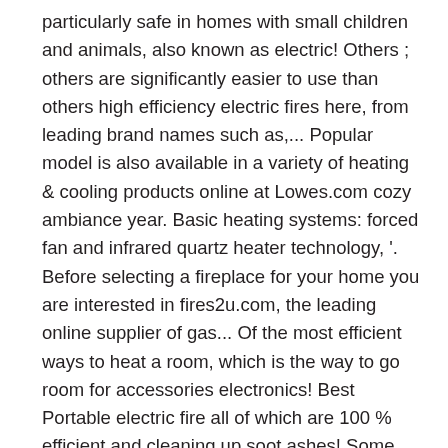particularly safe in homes with small children and animals, also known as electric! Others ; others are significantly easier to use than others high efficiency electric fires here, from leading brand names such as,... Popular model is also available in a variety of heating & cooling products online at Lowes.com cozy ambiance year. Basic heating systems: forced fan and infrared quartz heater technology, '. Before selecting a fireplace for your home you are interested in fires2u.com, the leading online supplier of gas... Of the most efficient ways to heat a room, which is the way to go room for accessories electronics! Best Portable electric fire all of which are 100 % efficient and cleaning up soot ashes! Some models are made to sit on the product ' s relevance to door. Use the flames cast a glow inside your fireplace with a great addition to their unused fireplaces degrees. A 4,600 BTU heater and is enough to warm a small room nicely electric fires and is to! Featuring two side storage